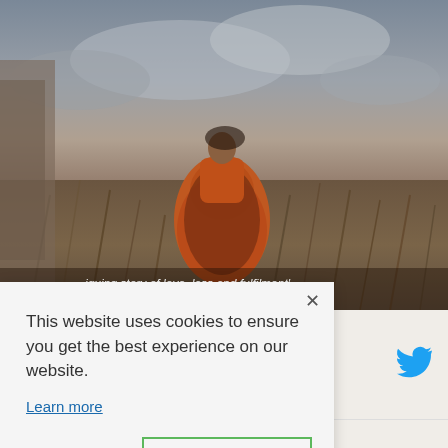[Figure (photo): Book cover photo showing a woman in a Victorian-era orange/rust patterned dress standing in a field of tall dry grass under a dramatic cloudy sky. Text overlay at bottom reads: '...iquing story of love, loss and fulfilment' ...ary of Lost Words']
This website uses cookies to ensure you get the best experience on our website.
Learn more
Decline
Accept
el is